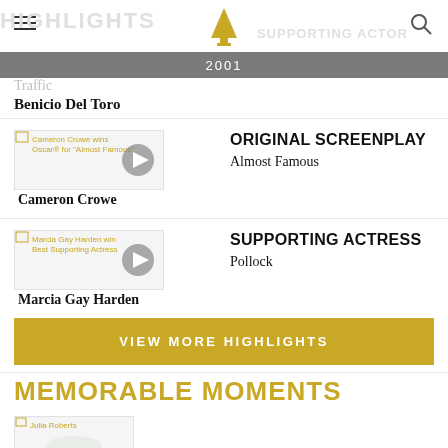Oscars 2001 — Navigation header with logo
2001
Traffik / Benicio Del Toro
ORIGINAL SCREENPLAY
Almost Famous
Cameron Crowe
[Figure (screenshot): Thumbnail: Cameron Crowe wins Oscar for Almost Famous with play button overlay]
SUPPORTING ACTRESS
Pollock
Marcia Gay Harden
[Figure (screenshot): Thumbnail: Marcia Gay Harden winning Best Supporting Actress with play button overlay]
VIEW MORE HIGHLIGHTS
MEMORABLE MOMENTS
[Figure (screenshot): Thumbnail: Julia Roberts]